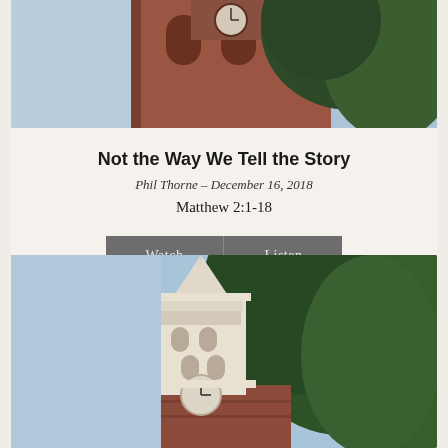[Figure (photo): Church building with red brick and arched windows, viewed from below, with trees visible, top portion cropped]
Not the Way We Tell the Story
Phil Thorne – December 16, 2018
Matthew 2:1-18
[Figure (photo): Church steeple with white bell tower and spire against blue sky, with large green trees, red brick base visible, upward angle view]